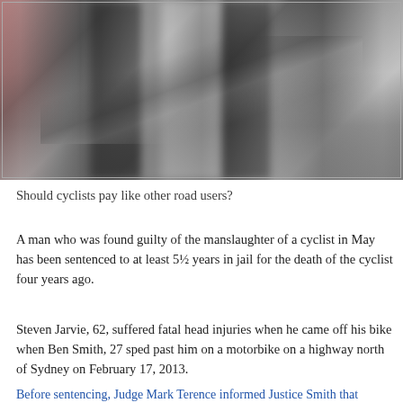[Figure (photo): Motion-blurred photograph of cyclists riding bikes on a city street, with a red car visible on the left side. The image is taken with a slow shutter speed creating strong motion blur effect.]
Should cyclists pay like other road users?
A man who was found guilty of the manslaughter of a cyclist in May has been sentenced to at least 5½ years in jail for the death of the cyclist four years ago.
Steven Jarvie, 62, suffered fatal head injuries when he came off his bike when Ben Smith, 27 sped past him on a motorbike on a highway north of Sydney on February 17, 2013.
Before sentencing, Judge Mark Terence informed Justice Smith that